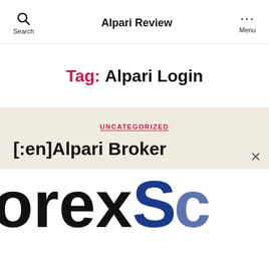Alpari Review
Tag: Alpari Login
UNCATEGORIZED
[:en]Alpari Broker
[Figure (logo): Partial logo showing text 'orexS' in large bold font, black and blue colors, cropped at edges]